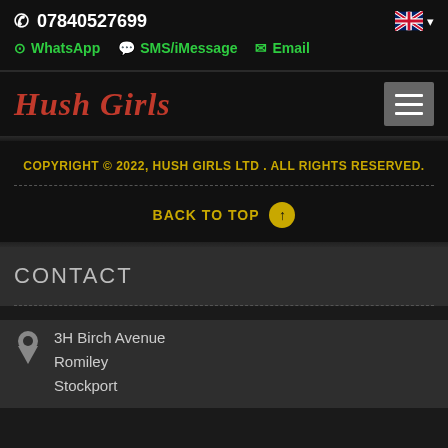📞 07840527699
WhatsApp  SMS/iMessage  Email
Hush Girls
COPYRIGHT © 2022, HUSH GIRLS LTD . ALL RIGHTS RESERVED.
BACK TO TOP
CONTACT
3H Birch Avenue
Romiley
Stockport